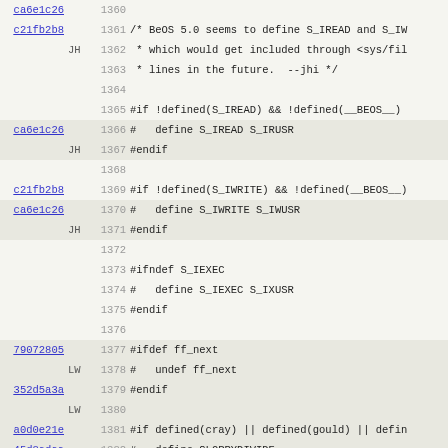| commit | author | line | code |
| --- | --- | --- | --- |
| ca6e1c26 |  | 1360 |  |
| c21fb2b8 |  | 1361 | /* BeOS 5.0 seems to define S_IREAD and S_IW |
| JH |  | 1362 |  * which would get included through <sys/fil |
|  |  | 1363 |  * lines in the future.  --jhi */ |
|  |  | 1364 |  |
|  |  | 1365 | #if !defined(S_IREAD) && !defined(__BEOS__) |
| ca6e1c26 |  | 1366 | #   define S_IREAD S_IRUSR |
| JH |  | 1367 | #endif |
|  |  | 1368 |  |
| c21fb2b8 |  | 1369 | #if !defined(S_IWRITE) && !defined(__BEOS__) |
| ca6e1c26 |  | 1370 | #   define S_IWRITE S_IWUSR |
| JH |  | 1371 | #endif |
|  |  | 1372 |  |
|  |  | 1373 | #ifndef S_IEXEC |
|  |  | 1374 | #   define S_IEXEC S_IXUSR |
|  |  | 1375 | #endif |
|  |  | 1376 |  |
| 79072805 |  | 1377 | #ifdef ff_next |
| LW |  | 1378 | #   undef ff_next |
| 352d5a3a |  | 1379 | #endif |
| LW |  | 1380 |  |
| a0d0e21e |  | 1381 | #if defined(cray) || defined(gould) || defin |
| 45d8adaa |  | 1382 | #   define SLOPPYDIVIDE |
| LW |  | 1383 | #endif |
|  |  | 1384 |  |
| 748a9306 |  | 1385 | #ifdef UV |
| LW |  | 1386 | #undef UV |
|  |  | 1387 | #endif |
|  |  | 1388 |  |
| c89df6bf |  | 1389 | #ifdef  SPRINTF_E_BUG |
| JH |  | 1390 | #  define sprintf UTS_sprintf_wrap |
|  |  | 1391 | #endif |
|  |  | 1392 |  |